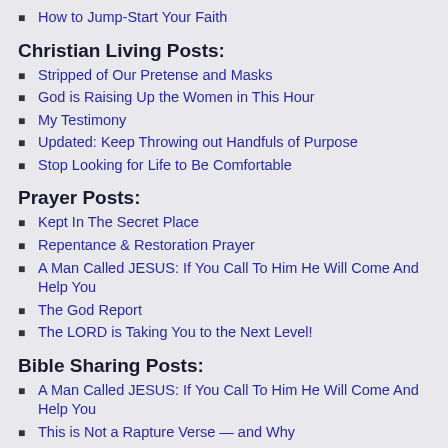How to Jump-Start Your Faith
Christian Living Posts:
Stripped of Our Pretense and Masks
God is Raising Up the Women in This Hour
My Testimony
Updated: Keep Throwing out Handfuls of Purpose
Stop Looking for Life to Be Comfortable
Prayer Posts:
Kept In The Secret Place
Repentance & Restoration Prayer
A Man Called JESUS: If You Call To Him He Will Come And Help You
The God Report
The LORD is Taking You to the Next Level!
Bible Sharing Posts:
A Man Called JESUS: If You Call To Him He Will Come And Help You
This is Not a Rapture Verse — and Why